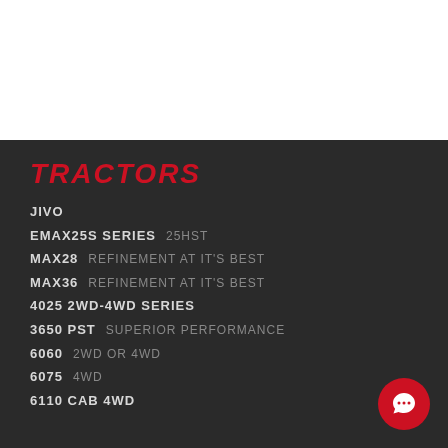TRACTORS
JIVO
EMAX25S SERIES   25HST
MAX28   REFINEMENT AT IT'S BEST
MAX36   REFINEMENT AT IT'S BEST
4025 2WD-4WD SERIES
3650 PST   SUPERIOR PERFORMANCE
6060   2WD OR 4WD
6075   4WD
6110 CAB 4WD